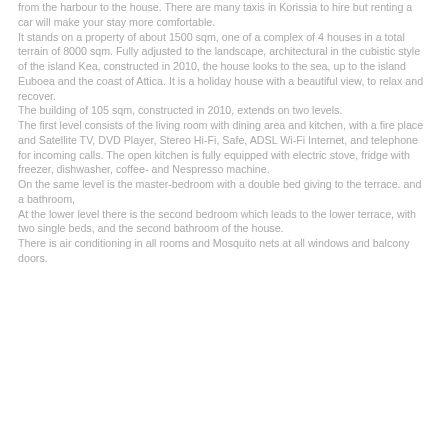from the harbour to the house. There are many taxis in Korissia to hire but renting a car will make your stay more comfortable. It stands on a property of about 1500 sqm, one of a complex of 4 houses in a total terrain of 8000 sqm. Fully adjusted to the landscape, architectural in the cubistic style of the island Kea, constructed in 2010, the house looks to the sea, up to the island Euboea and the coast of Attica. It is a holiday house with a beautiful view, to relax and recover. The building of 105 sqm, constructed in 2010, extends on two levels. The first level consists of the living room with dining area and kitchen, with a fire place and Satellite TV, DVD Player, Stereo Hi-Fi, Safe, ADSL Wi-Fi Internet, and telephone for incoming calls. The open kitchen is fully equipped with electric stove, fridge with freezer, dishwasher, coffee- and Nespresso machine. On the same level is the master-bedroom with a double bed giving to the terrace. and a bathroom, At the lower level there is the second bedroom which leads to the lower terrace, with two single beds, and the second bathroom of the house. There is air conditioning in all rooms and Mosquito nets at all windows and balcony doors.